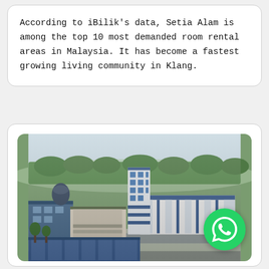According to iBilik's data, Setia Alam is among the top 10 most demanded room rental areas in Malaysia. It has become a fastest growing living community in Klang.
[Figure (photo): Aerial view of an industrial area showing white and blue factory/warehouse buildings with a tall blue industrial tower, surrounded by greenery and roads.]